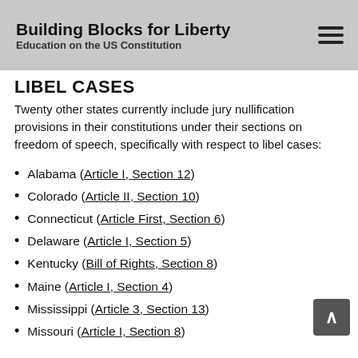Building Blocks for Liberty
Education on the US Constitution
LIBEL CASES
Twenty other states currently include jury nullification provisions in their constitutions under their sections on freedom of speech, specifically with respect to libel cases:
Alabama (Article I, Section 12)
Colorado (Article II, Section 10)
Connecticut (Article First, Section 6)
Delaware (Article I, Section 5)
Kentucky (Bill of Rights, Section 8)
Maine (Article I, Section 4)
Mississippi (Article 3, Section 13)
Missouri (Article I, Section 8)